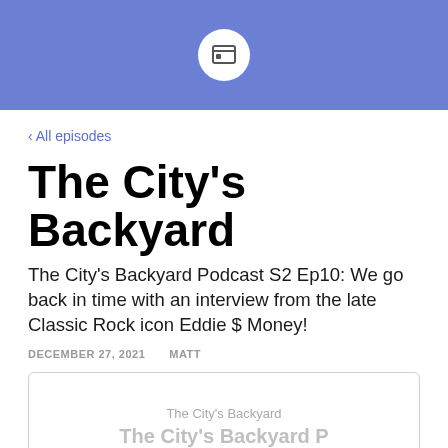[Figure (logo): Blue header bar with white circular icon containing a browser/screen symbol]
‹ All episodes
The City's Backyard
The City's Backyard Podcast S2 Ep10: We go back in time with an interview from the late Classic Rock icon Eddie $ Money!
DECEMBER 27, 2021   MATT
[Figure (screenshot): Podcast player card showing 'The City's Backyard' podcast name and episode title 'The City's Backyard P...']